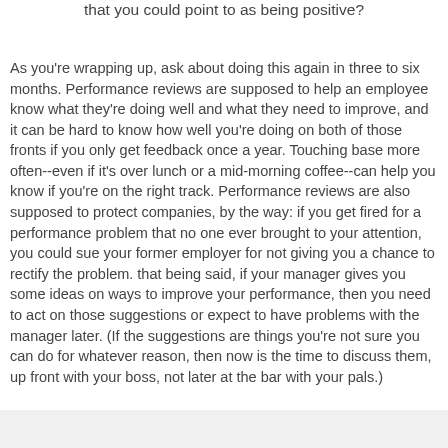that you could point to as being positive?
As you're wrapping up, ask about doing this again in three to six months. Performance reviews are supposed to help an employee know what they're doing well and what they need to improve, and it can be hard to know how well you're doing on both of those fronts if you only get feedback once a year. Touching base more often--even if it's over lunch or a mid-morning coffee--can help you know if you're on the right track. Performance reviews are also supposed to protect companies, by the way: if you get fired for a performance problem that no one ever brought to your attention, you could sue your former employer for not giving you a chance to rectify the problem. that being said, if your manager gives you some ideas on ways to improve your performance, then you need to act on those suggestions or expect to have problems with the manager later. (If the suggestions are things you're not sure you can do for whatever reason, then now is the time to discuss them, up front with your boss, not later at the bar with your pals.)